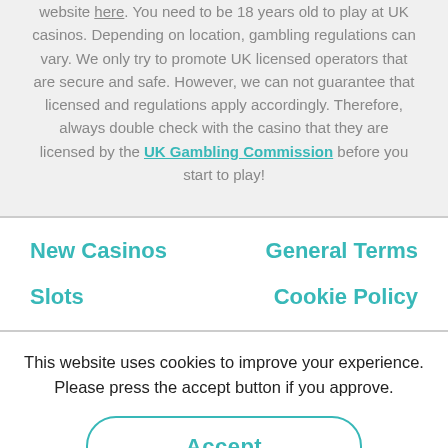website here. You need to be 18 years old to play at UK casinos. Depending on location, gambling regulations can vary. We only try to promote UK licensed operators that are secure and safe. However, we can not guarantee that licensed and regulations apply accordingly. Therefore, always double check with the casino that they are licensed by the UK Gambling Commission before you start to play!
New Casinos
General Terms
Slots
Cookie Policy
This website uses cookies to improve your experience. Please press the accept button if you approve.